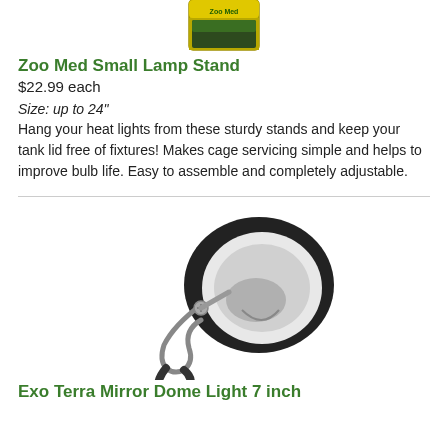[Figure (photo): Product box of Zoo Med Small Lamp Stand shown partially at top of page]
Zoo Med Small Lamp Stand
$22.99 each
Size: up to 24"
Hang your heat lights from these sturdy stands and keep your tank lid free of fixtures! Makes cage servicing simple and helps to improve bulb life. Easy to assemble and completely adjustable.
[Figure (photo): Exo Terra Mirror Dome Light 7 inch clamp lamp shown with black dome shade and chrome clamp handle]
Exo Terra Mirror Dome Light 7 inch